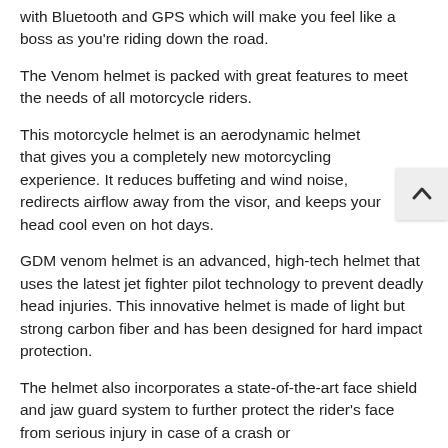with Bluetooth and GPS which will make you feel like a boss as you're riding down the road.
The Venom helmet is packed with great features to meet the needs of all motorcycle riders.
This motorcycle helmet is an aerodynamic helmet that gives you a completely new motorcycling experience. It reduces buffeting and wind noise, redirects airflow away from the visor, and keeps your head cool even on hot days.
GDM venom helmet is an advanced, high-tech helmet that uses the latest jet fighter pilot technology to prevent deadly head injuries. This innovative helmet is made of light but strong carbon fiber and has been designed for hard impact protection.
The helmet also incorporates a state-of-the-art face shield and jaw guard system to further protect the rider's face from serious injury in case of a crash or